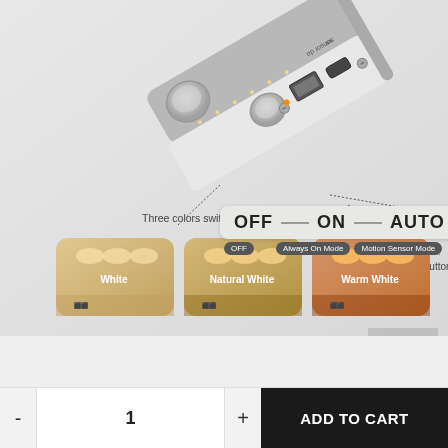[Figure (photo): Product photo of a USB rechargeable motion sensor LED light bar. Shows the device with labeled parts: Three colors switch button, USB Charging port, Mode button. Three color swatches shown: White, Natural White, Warm White. Mode selector graphic shows OFF, ON (Always On Mode), AUTO (Motion Sensor Mode).]
- 1 + ADD TO CART